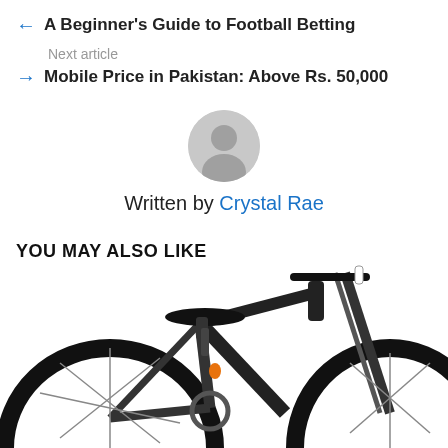← A Beginner's Guide to Football Betting
Next article
→ Mobile Price in Pakistan: Above Rs. 50,000
[Figure (illustration): Gray circular avatar/profile icon placeholder]
Written by Crystal Rae
YOU MAY ALSO LIKE
[Figure (photo): Black bicycle - upper portion showing saddle, frame, handlebars and front fork against white background]